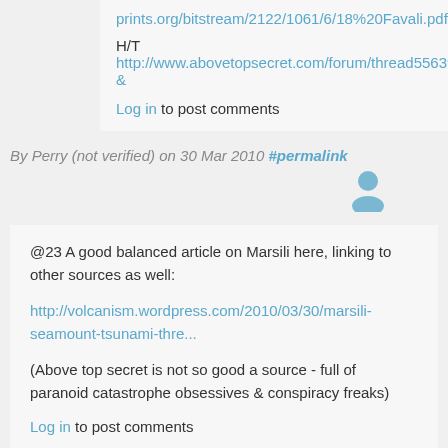prints.org/bitstream/2122/1061/6/18%20Favali.pdf
H/T
http://www.abovetopsecret.com/forum/thread556391/pg1
&
Log in to post comments
By Perry (not verified) on 30 Mar 2010 #permalink
@23 A good balanced article on Marsili here, linking to other sources as well:
http://volcanism.wordpress.com/2010/03/30/marsili-seamount-tsunami-thre...
(Above top secret is not so good a source - full of paranoid catastrophe obsessives & conspiracy freaks)
Log in to post comments